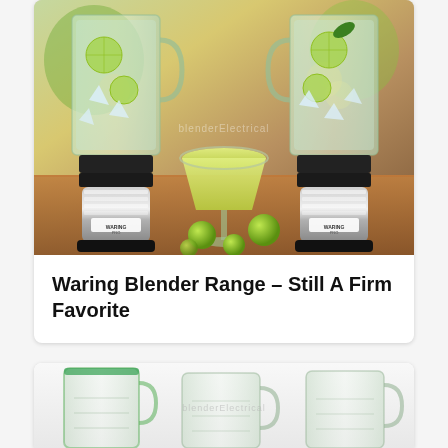[Figure (photo): Two Waring Pro blenders with glass pitchers containing ice and lime slices, flanking a margarita glass with yellow frozen drink, limes scattered on wooden surface, bright kitchen background]
Waring Blender Range – Still A Firm Favorite
[Figure (photo): Three clear glass blender jars/pitchers shown from bottom portion, displayed side by side on light background]